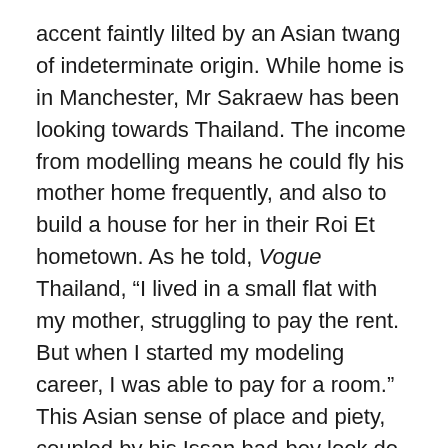accent faintly lilted by an Asian twang of indeterminate origin. While home is in Manchester, Mr Sakraew has been looking towards Thailand. The income from modelling means he could fly his mother home frequently, and also to build a house for her in their Roi Et hometown. As he told, Vogue Thailand, “I lived in a small flat with my mother, struggling to pay the rent. But when I started my modeling career, I was able to pay for a room.” This Asian sense of place and piety, coupled by his Issan bad-boy look do set him apart from the pale and pretty perfection that is the Bangkok modelling scene, so much so that GQ Thailand swooned—Mr Srakaew “proves that the Thai style is outstanding internationally.” Did they take “Thai style” to mean upcountry or baan nork?
He is tall: 1.83m, according to his London men’s-only